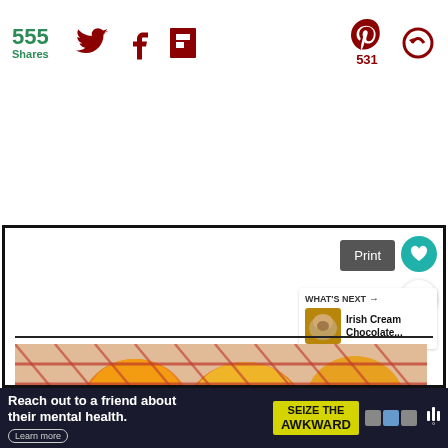[Figure (infographic): Social sharing bar with 555 Shares count (green), Twitter bird icon (dark red), Facebook f icon (dark red), Flipboard icon (dark red), Pinterest P icon (dark red) with 531 count, and a share/loop icon (dark red)]
Yield: 30
Author: Claudia Lamascolo
[Figure (infographic): Print button (grey) with heart icon (teal circle), share icon (white circle), What's Next arrow panel with thumbnail image of baked goods and text 'Irish Cream Chocolate...']
[Figure (photo): Recipe photo showing oranges or lemons in a red net/mesh bag]
Reach out to a friend about their mental health. Learn more | SEIZE THE AWKWARD